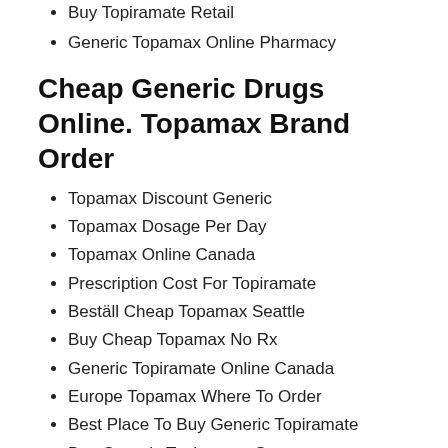Buy Topiramate Retail
Generic Topamax Online Pharmacy
Cheap Generic Drugs Online. Topamax Brand Order
Topamax Discount Generic
Topamax Dosage Per Day
Topamax Online Canada
Prescription Cost For Topiramate
Beställ Cheap Topamax Seattle
Buy Cheap Topamax No Rx
Generic Topiramate Online Canada
Europe Topamax Where To Order
Best Place To Buy Generic Topiramate
Buy Generic Topiramate Store
Topiramate No Prescription Cheap
Combien Generic Topamax Odense
Online Generic Topamax Cheap